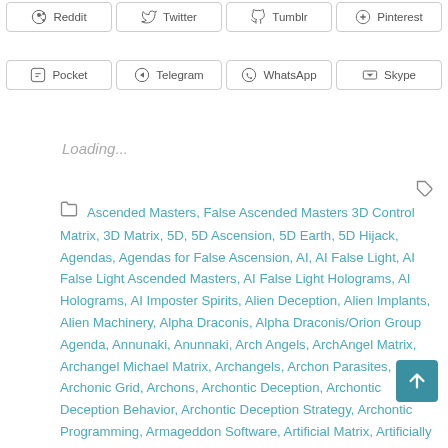[Figure (other): Social share buttons row 1: Reddit, Twitter, Tumblr, Pinterest]
[Figure (other): Social share buttons row 2: Pocket, Telegram, WhatsApp, Skype]
Loading...
Ascended Masters, False Ascended Masters  3D Control Matrix, 3D Matrix, 5D, 5D Ascension, 5D Earth, 5D Hijack, Agendas, Agendas for False Ascension, AI, AI False Light, AI False Light Ascended Masters, AI False Light Holograms, AI Holograms, AI Imposter Spirits, Alien Deception, Alien Implants, Alien Machinery, Alpha Draconis, Alpha Draconis/Orion Group Agenda, Annunaki, Anunnaki, Arch Angels, ArchAngel Matrix, Archangel Michael Matrix, Archangels, Archon Parasites, Archonic Grid, Archons, Archontic Deception, Archontic Deception Behavior, Archontic Deception Strategy, Archontic Programming, Armageddon Software, Artificial Matrix, Artificially Bent Light, Ascended Masters, Ascension, Ascension Glossary, Ascension